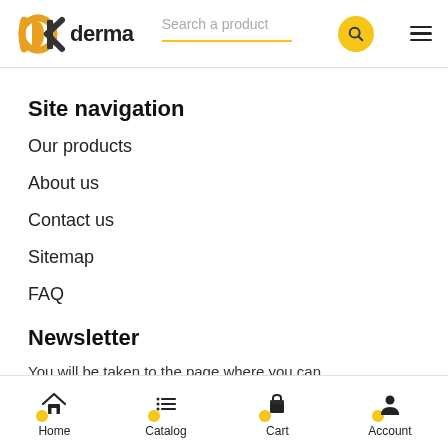DK derma — Search a product — hamburger menu
Site navigation
Our products
About us
Contact us
Sitemap
FAQ
Newsletter
You will be taken to the page where you can
Home  Catalog  Cart  Account